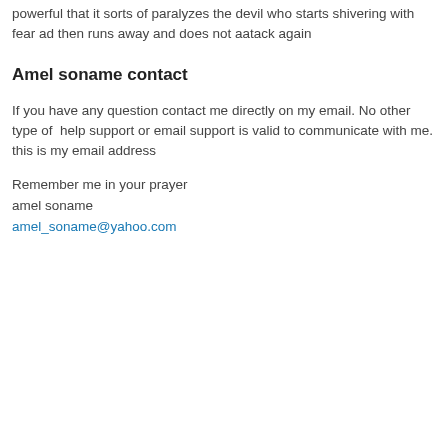powerful that it sorts of paralyzes the devil who starts shivering with fear ad then runs away and does not aatack again
Amel soname contact
If you have any question contact me directly on my email. No other type of  help support or email support is valid to communicate with me. this is my email address
Remember me in your prayer
amel soname
amel_soname@yahoo.com